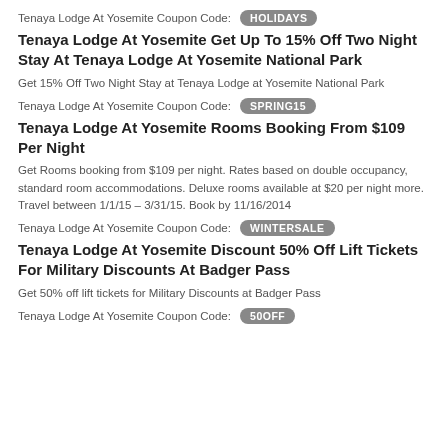Tenaya Lodge At Yosemite Coupon Code: HOLIDAYS
Tenaya Lodge At Yosemite Get Up To 15% Off Two Night Stay At Tenaya Lodge At Yosemite National Park
Get 15% Off Two Night Stay at Tenaya Lodge at Yosemite National Park
Tenaya Lodge At Yosemite Coupon Code: SPRING15
Tenaya Lodge At Yosemite Rooms Booking From $109 Per Night
Get Rooms booking from $109 per night. Rates based on double occupancy, standard room accommodations. Deluxe rooms available at $20 per night more. Travel between 1/1/15 – 3/31/15. Book by 11/16/2014
Tenaya Lodge At Yosemite Coupon Code: WINTERSALE
Tenaya Lodge At Yosemite Discount 50% Off Lift Tickets For Military Discounts At Badger Pass
Get 50% off lift tickets for Military Discounts at Badger Pass
Tenaya Lodge At Yosemite Coupon Code: 50OFF